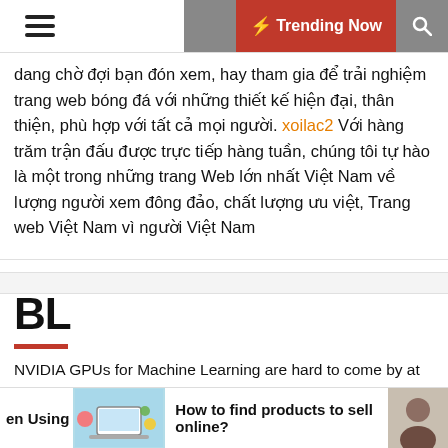☰  [moon icon]  ⚡ Trending Now  [search icon]
dang chờ đợi bạn đón xem, hay tham gia để trải nghiệm trang web bóng đá với những thiết kế hiện đại, thân thiện, phù hợp với tất cả mọi người. xoilac2 Với hàng trăm trận đấu được trực tiếp hàng tuần, chúng tôi tự hào là một trong những trang Web lớn nhất Việt Nam về lượng người xem đông đảo, chất lượng ưu việt, Trang web Việt Nam vì người Việt Nam
BL
NVIDIA GPUs for Machine Learning are hard to come by at affordable prices. Runpod is offering GPU rental at 80% of the price of most competitors. You will get a dedicated GPU with all the perks of running Tensorflow, Pytorch or your own software tools.
en Using   How to find products to sell online?